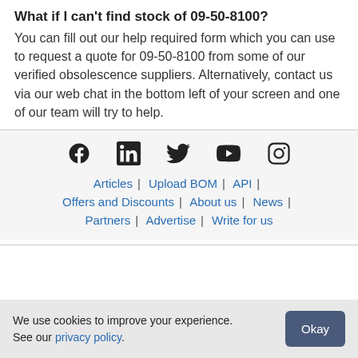What if I can't find stock of 09-50-8100?
You can fill out our help required form which you can use to request a quote for 09-50-8100 from some of our verified obsolescence suppliers. Alternatively, contact us via our web chat in the bottom left of your screen and one of our team will try to help.
[Figure (infographic): Social media icons: Facebook, LinkedIn, Twitter, YouTube, Instagram]
Articles | Upload BOM | API | Offers and Discounts | About us | News | Partners | Advertise | Write for us
We use cookies to improve your experience. See our privacy policy.